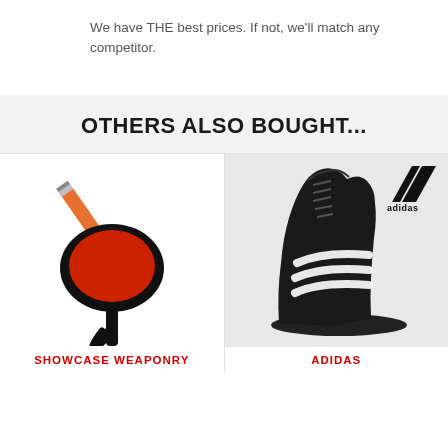We have THE best prices. If not, we'll match any competitor.
OTHERS ALSO BOUGHT...
[Figure (photo): Boxing target paddle with a pencil through it, Showcase Weaponry product]
SHOWCASE WEAPONRY
[Figure (photo): Black Adidas boxing boot/shoe with white three stripes, with Adidas logo in top right]
ADIDAS